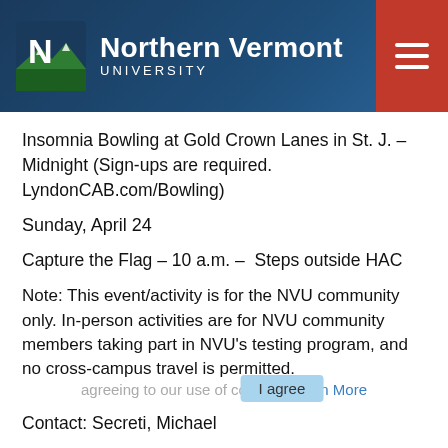Northern Vermont University
Insomnia Bowling at Gold Crown Lanes in St. J. – Midnight (Sign-ups are required. LyndonCAB.com/Bowling)
Sunday, April 24
Capture the Flag – 10 a.m. – Steps outside HAC
Note: This event/activity is for the NVU community only. In-person activities are for NVU community members taking part in NVU's testing program, and no cross-campus travel is permitted.
Contact: Secreti, Michael